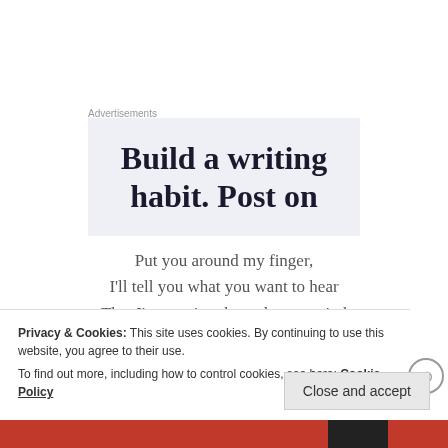Advertisements
[Figure (illustration): Advertisement banner with text 'Build a writing habit. Post on' on light blue background]
Put you around my finger,
I'll tell you what you want to hear
That I'm running through your mind
And I've got you hooked all up here
Privacy & Cookies: This site uses cookies. By continuing to use this website, you agree to their use.
To find out more, including how to control cookies, see here: Cookie Policy
Close and accept